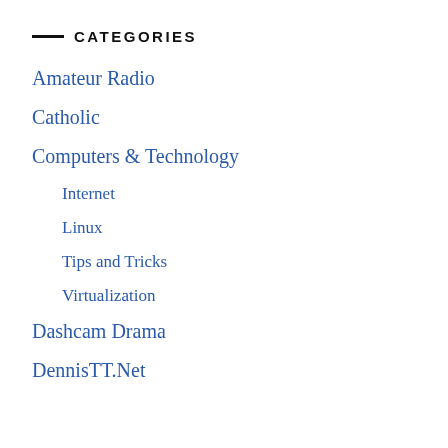CATEGORIES
Amateur Radio
Catholic
Computers & Technology
Internet
Linux
Tips and Tricks
Virtualization
Dashcam Drama
DennisTT.Net